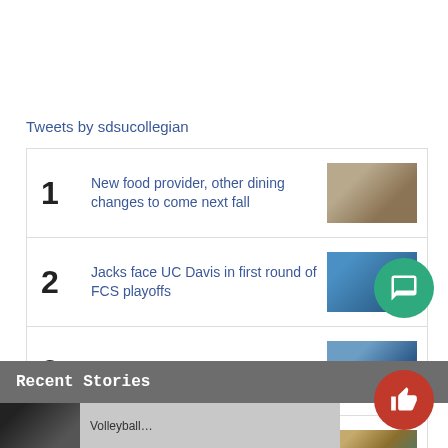Tweets by sdsucollegian
1 New food provider, other dining changes to come next fall
2 Jacks face UC Davis in first round of FCS playoffs
3 Five minutes with Michael Orris
4 The future for SDSU dining
Recent Stories
Volleyball...